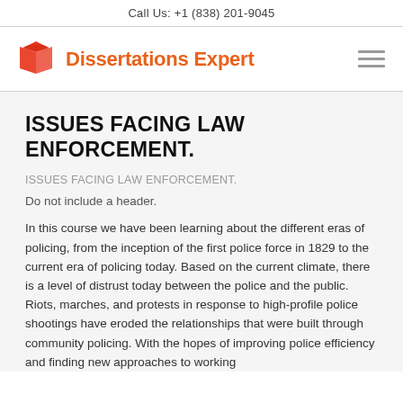Call Us: +1 (838) 201-9045
[Figure (logo): Dissertations Expert logo with red open book icon and orange bold text]
ISSUES FACING LAW ENFORCEMENT.
ISSUES FACING LAW ENFORCEMENT.
Do not include a header.
In this course we have been learning about the different eras of policing, from the inception of the first police force in 1829 to the current era of policing today. Based on the current climate, there is a level of distrust today between the police and the public. Riots, marches, and protests in response to high-profile police shootings have eroded the relationships that were built through community policing. With the hopes of improving police efficiency and finding new approaches to working